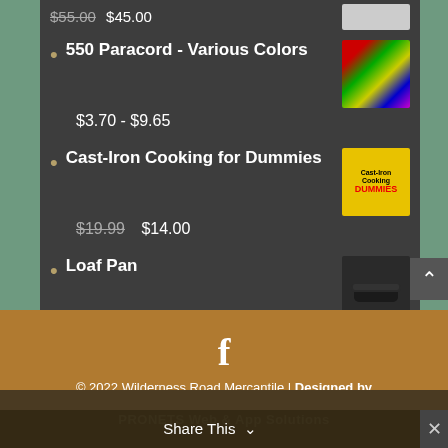Complete Fermentation Kit by Masontops — $55.00 $45.00
550 Paracord - Various Colors — $3.70 - $9.65
Cast-Iron Cooking for Dummies — $19.99 $14.00
Loaf Pan — $25.00
© 2022 Wilderness Road Mercantile | Designed by PRONETS Web & App Solutions
Share This ×